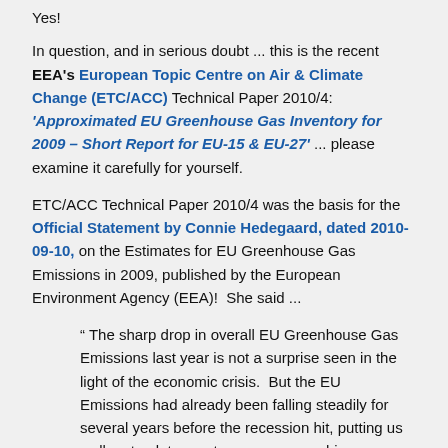Yes!
In question, and in serious doubt ... this is the recent EEA's European Topic Centre on Air & Climate Change (ETC/ACC) Technical Paper 2010/4: 'Approximated EU Greenhouse Gas Inventory for 2009 – Short Report for EU-15 & EU-27' ... please examine it carefully for yourself.
ETC/ACC Technical Paper 2010/4 was the basis for the Official Statement by Connie Hedegaard, dated 2010-09-10, on the Estimates for EU Greenhouse Gas Emissions in 2009, published by the European Environment Agency (EEA)!  She said ...
" The sharp drop in overall EU Greenhouse Gas Emissions last year is not a surprise seen in the light of the economic crisis.  But the EU Emissions had already been falling steadily for several years before the recession hit, putting us well on track to meet or even over-achieve our Kyoto Protocol Targets.  This is thanks to the armoury of policies and measures